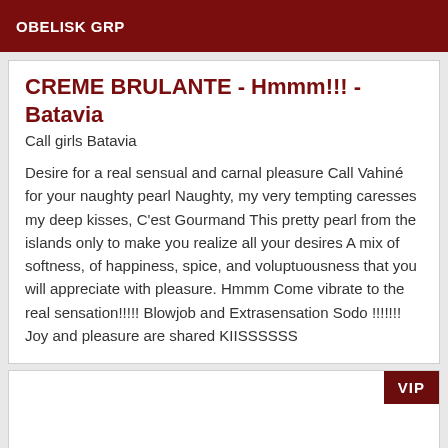OBELISK GRP
CREME BRULANTE - Hmmm!!! - Batavia
Call girls Batavia
Desire for a real sensual and carnal pleasure Call Vahiné for your naughty pearl Naughty, my very tempting caresses my deep kisses, C'est Gourmand This pretty pearl from the islands only to make you realize all your desires A mix of softness, of happiness, spice, and voluptuousness that you will appreciate with pleasure. Hmmm Come vibrate to the real sensation!!!!! Blowjob and Extrasensation Sodo !!!!!!! Joy and pleasure are shared KIISSSSSS
VIP